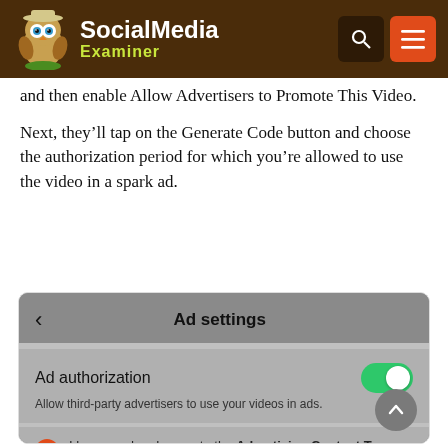Social Media Examiner
and then enable Allow Advertisers to Promote This Video.
Next, they'll tap on the Generate Code button and choose the authorization period for which you're allowed to use the video in a spark ad.
[Figure (screenshot): A mobile screenshot showing the 'Ad settings' screen with 'Ad authorization' toggle switched on (green), subtitle 'Allow third-party advertisers to use your videos in ads.', and a checkbox row beginning 'I have read and agree to the Advertising Content Terms of Service']